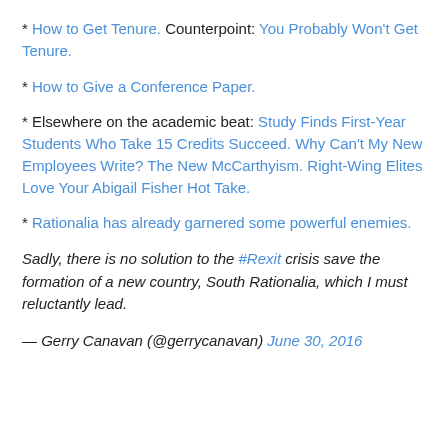* How to Get Tenure. Counterpoint: You Probably Won't Get Tenure.
* How to Give a Conference Paper.
* Elsewhere on the academic beat: Study Finds First-Year Students Who Take 15 Credits Succeed. Why Can't My New Employees Write? The New McCarthyism. Right-Wing Elites Love Your Abigail Fisher Hot Take.
* Rationalia has already garnered some powerful enemies.
Sadly, there is no solution to the #Rexit crisis save the formation of a new country, South Rationalia, which I must reluctantly lead.
— Gerry Canavan (@gerrycanavan) June 30, 2016